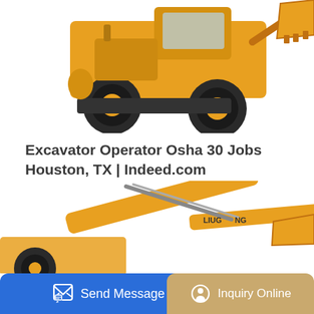[Figure (photo): Yellow wheel loader / front-end loader construction machine, partially visible from the top portion, white background]
Excavator Operator Osha 30 Jobs Houston, TX | Indeed.com
85 Excavator Operator jobs available on Indeed.com. Apply to Equipment Operator, Excavator Operator, Concrete Finisher and more!85 Excavator Operator jobs available o...
[Figure (illustration): Blue 'Learn More' button]
[Figure (photo): Yellow excavator arm/boom close-up, partially visible]
[Figure (infographic): Bottom navigation bar with 'Send Message' button (blue) on the left and 'Inquiry Online' button (tan/gold) on the right]